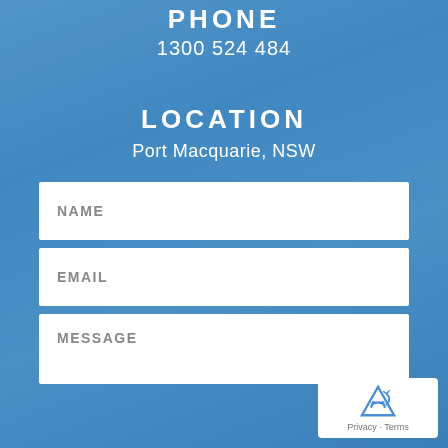PHONE
1300 524 484
LOCATION
Port Macquarie, NSW
NAME
EMAIL
MESSAGE